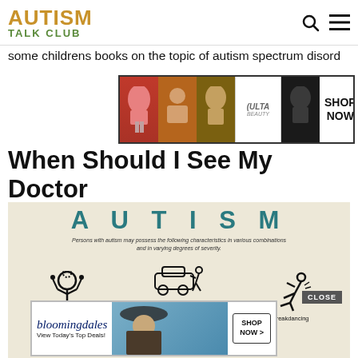AUTISM TALK CLUB
some childrens books on the topic of autism spectrum disord
[Figure (infographic): ULTA beauty advertisement banner with cosmetic/makeup imagery and SHOP NOW button]
When Should I See My Doctor
[Figure (infographic): Autism infographic showing characteristics: 'Persons with autism may possess the following characteristics in various combinations and in varying degrees of severity.' Icons show: can remove own head, runs over innocent joggers, breakdancing. Lower section partially visible with another ad overlay showing Bloomingdales advertisement with CLOSE button.]